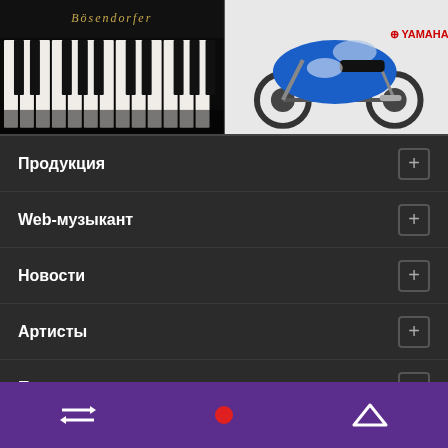[Figure (photo): Two-panel banner: left panel shows a dark grand piano (Bösendorfer) keyboard with ornate golden brand name; right panel shows a blue Yamaha sport motorcycle on white background with red Yamaha logo]
Продукция
Web-музыкант
Новости
Артисты
Поддержка
Где купить
О компании Yamaha
Navigation bar with swap icon and up caret icon on purple background